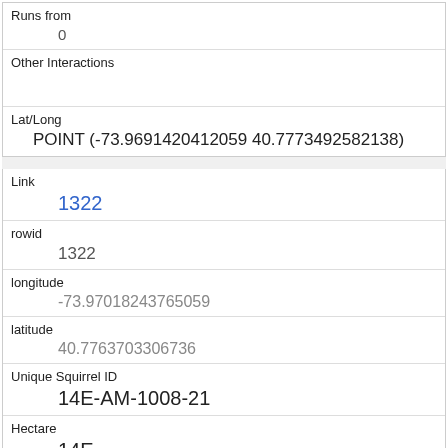| Runs from | 0 |
| Other Interactions |  |
| Lat/Long | POINT (-73.9691420412059 40.7773492582138) |
| Link | 1322 |
| rowid | 1322 |
| longitude | -73.97018243765059 |
| latitude | 40.7763703306736 |
| Unique Squirrel ID | 14E-AM-1008-21 |
| Hectare | 14E |
| Shift | AM |